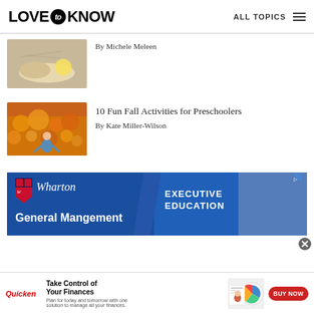LOVE to KNOW — ALL TOPICS
By Michele Meleen
10 Fun Fall Activities for Preschoolers
By Kate Miller-Wilson
[Figure (photo): Wharton Executive Education advertisement banner]
[Figure (photo): Quicken Take Control of Your Finances advertisement bar]